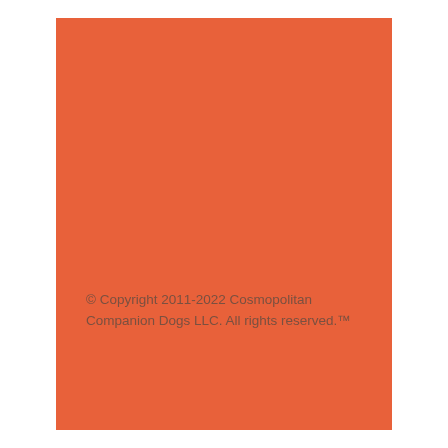© Copyright 2011-2022 Cosmopolitan Companion Dogs LLC. All rights reserved.™